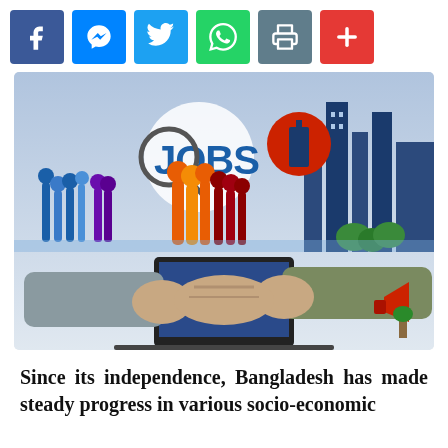[Figure (other): Social media sharing buttons: Facebook (blue), Messenger (blue), Twitter (light blue), WhatsApp (green), Print (grey), Plus/More (red)]
[Figure (photo): Composite illustration showing a jobs/employment theme: two people shaking hands in foreground with a laptop, silhouettes of people in the background, city skyline, and a magnifying glass over the word JOBS with a red circle logo]
Since its independence, Bangladesh has made steady progress in various socio-economic